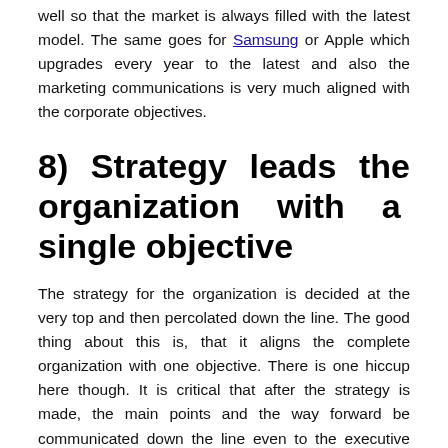well so that the market is always filled with the latest model. The same goes for Samsung or Apple which upgrades every year to the latest and also the marketing communications is very much aligned with the corporate objectives.
8) Strategy leads the organization with a single objective
The strategy for the organization is decided at the very top and then percolated down the line. The good thing about this is, that it aligns the complete organization with one objective. There is one hiccup here though. It is critical that after the strategy is made, the main points and the way forward be communicated down the line even to the executive levels.